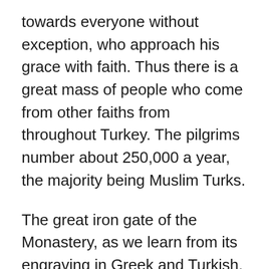towards everyone without exception, who approach his grace with faith. Thus there is a great mass of people who come from other faiths from throughout Turkey. The pilgrims number about 250,000 a year, the majority being Muslim Turks.
The great iron gate of the Monastery, as we learn from its engraving in Greek and Turkish, was offered from the Muslim Rasoul Efenti, as a gift of gratitude towards the Saint for the healing of his wife.
On April 23rd, in other words the day when the